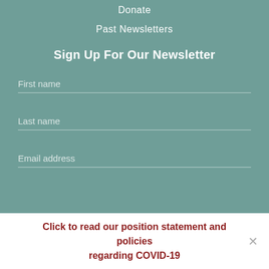Donate
Past Newsletters
Sign Up For Our Newsletter
First name
Last name
Email address
Click to read our position statement and policies regarding COVID-19